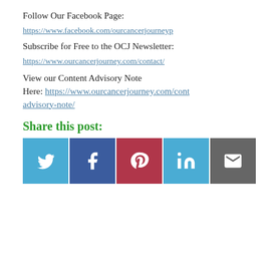Follow Our Facebook Page:
https://www.facebook.com/ourcancerjourneyp
Subscribe for Free to the OCJ Newsletter:
https://www.ourcancerjourney.com/contact/
View our Content Advisory Note Here: https://www.ourcancerjourney.com/cont advisory-note/
Share this post:
[Figure (infographic): Row of 5 social share buttons: Twitter (light blue), Facebook (dark blue), Pinterest (dark red), LinkedIn (light blue), Email (gray)]